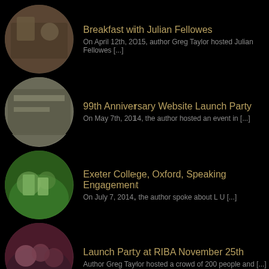Breakfast with Julian Fellowes — On April 12th, 2015, author Greg Taylor hosted Julian Fellowes [...]
99th Anniversary Website Launch Party — On May 7th, 2014, the author hosted an event in [...]
Exeter College, Oxford, Speaking Engagement — On July 7, 2014, the author spoke about L U [...]
Launch Party at RIBA November 25th — Author Greg Taylor hosted a crowd of 200 people and [...]
[Figure (other): Search icon — circular magnifying glass icon]
Recent Posts
Breakfast with Julian Fellowes
Get 'em while they're young
Calling for Maritime poets!
Interview on Radio Veralum